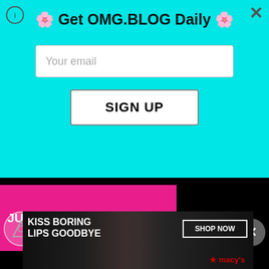🌸 Get OMG.BLOG Daily 🌸
Your email
SIGN UP
JUMP IN AND READ MORE
Sarah Hyland a...
1
2
3
NEX
[Figure (screenshot): Video thumbnail showing Sarah Hyland at InStyle event with WB logos, play button overlay]
[Figure (screenshot): Macy's advertisement banner: KISS BORING LIPS GOODBYE with SHOP NOW button and Macy's star logo]